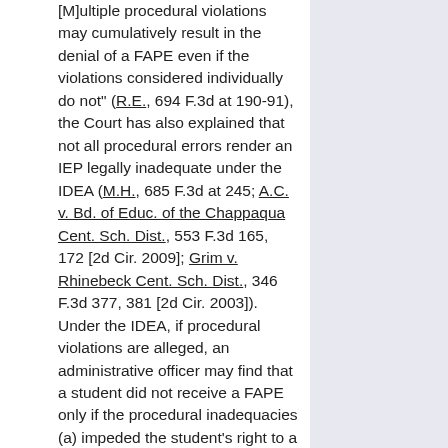[M]ultiple procedural violations may cumulatively result in the denial of a FAPE even if the violations considered individually do not" (R.E., 694 F.3d at 190-91), the Court has also explained that not all procedural errors render an IEP legally inadequate under the IDEA (M.H., 685 F.3d at 245; A.C. v. Bd. of Educ. of the Chappaqua Cent. Sch. Dist., 553 F.3d 165, 172 [2d Cir. 2009]; Grim v. Rhinebeck Cent. Sch. Dist., 346 F.3d 377, 381 [2d Cir. 2003]).  Under the IDEA, if procedural violations are alleged, an administrative officer may find that a student did not receive a FAPE only if the procedural inadequacies (a) impeded the student's right to a FAPE, (b) significantly impeded the parents' opportunity to participate in the decision-making process regarding the provision of a FAPE to the student, or